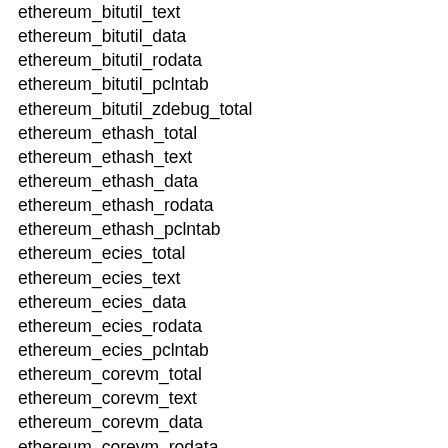ethereum_bitutil_text
ethereum_bitutil_data
ethereum_bitutil_rodata
ethereum_bitutil_pclntab
ethereum_bitutil_zdebug_total
ethereum_ethash_total
ethereum_ethash_text
ethereum_ethash_data
ethereum_ethash_rodata
ethereum_ethash_pclntab
ethereum_ecies_total
ethereum_ecies_text
ethereum_ecies_data
ethereum_ecies_rodata
ethereum_ecies_pclntab
ethereum_corevm_total
ethereum_corevm_text
ethereum_corevm_data
ethereum_corevm_rodata
ethereum_corevm_pclntab
ethereum_trie_total
ethereum_trie_text
ethereum_trie_data